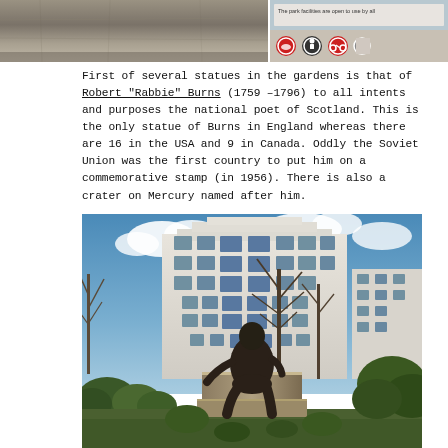[Figure (photo): Top left: close-up of a stone wall or garden structure with weathered texture. Top right: park sign with icons showing rules, partially visible text 'The park facilities are open to use by all' with circular prohibition signs.]
First of several statues in the gardens is that of Robert "Rabbie" Burns (1759 –1796) to all intents and purposes the national poet of Scotland. This is the only statue of Burns in England whereas there are 16 in the USA and 9 in Canada. Oddly the Soviet Union was the first country to put him on a commemorative stamp (in 1956). There is also a crater on Mercury named after him.
[Figure (photo): Photograph of the Robert Burns statue in a garden. A bronze statue of Burns seated on a stone pedestal is visible in the foreground, with bare winter trees and a large white Art Deco or modernist building in the background against a blue sky with white clouds. Green shrubs surround the base of the statue.]